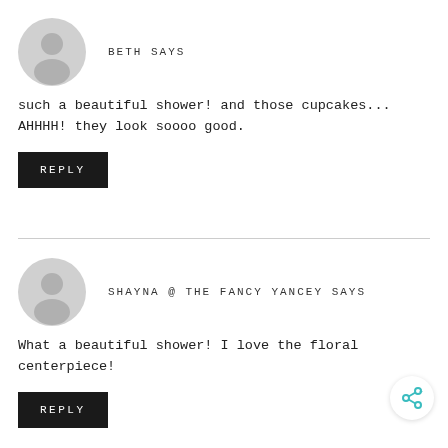BETH SAYS
such a beautiful shower! and those cupcakes... AHHHH! they look soooo good.
REPLY
SHAYNA @ THE FANCY YANCEY SAYS
What a beautiful shower! I love the floral centerpiece!
REPLY